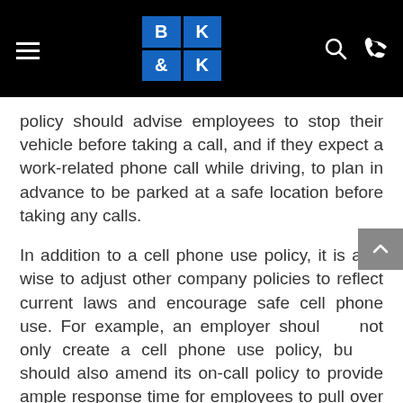BK&K law firm logo with hamburger menu, search, and phone icons
policy should advise employees to stop their vehicle before taking a call, and if they expect a work-related phone call while driving, to plan in advance to be parked at a safe location before taking any calls.
In addition to a cell phone use policy, it is also wise to adjust other company policies to reflect current laws and encourage safe cell phone use. For example, an employer should not only create a cell phone use policy, but should also amend its on-call policy to provide ample response time for employees to pull over and stop their vehicle safely before responding to a work-related call or page and to encourage employees to set their ringer to